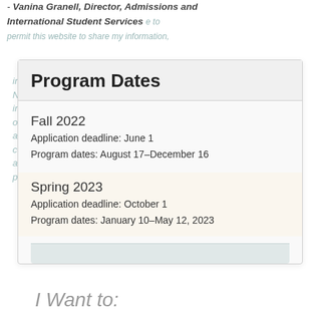- Vanina Granell, Director, Admissions and International Student Services
Program Dates
Fall 2022
Application deadline: June 1
Program dates: August 17–December 16
Spring 2023
Application deadline: October 1
Program dates: January 10–May 12, 2023
I Want to: